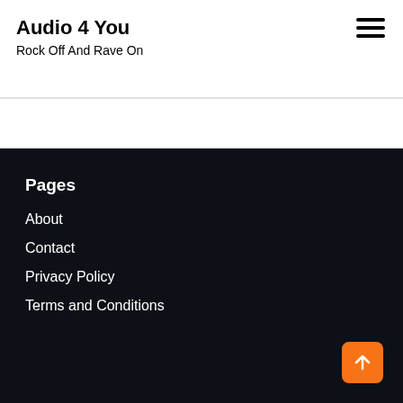Audio 4 You
Rock Off And Rave On
Pages
About
Contact
Privacy Policy
Terms and Conditions